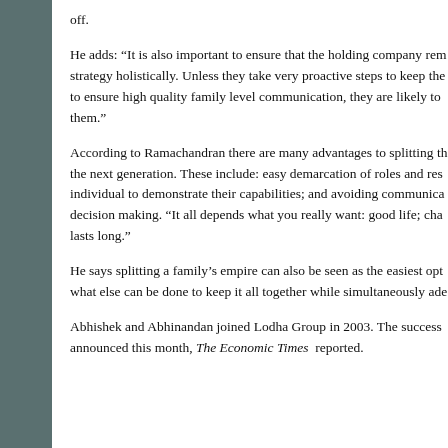off.
He adds: “It is also important to ensure that the holding company remains strategy holistically. Unless they take very proactive steps to keep the to ensure high quality family level communication, they are likely to them.”
According to Ramachandran there are many advantages to splitting the next generation. These include: easy demarcation of roles and res individual to demonstrate their capabilities; and avoiding communica decision making. “It all depends what you really want: good life; cha lasts long.”
He says splitting a family’s empire can also be seen as the easiest opt what else can be done to keep it all together while simultaneously ade
Abhishek and Abhinandan joined Lodha Group in 2003. The success announced this month, The Economic Times reported.